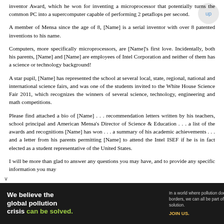inventor Award, which he won for inventing a microprocessor that potentially turns the common PC into a supercomputer capable of performing 2 petaflops per second.
A member of Mensa since the age of 8, [Name] is a serial inventor with over 8 patented inventions to his name.
Computers, more specifically microprocessors, are [Name]'s first love. Incidentally, both his parents, [Name] and [Name] are employees of Intel Corporation and neither of them has a science or technology background!
A star pupil, [Name] has represented the school at several local, state, regional, national and international science fairs, and was one of the students invited to the White House Science Fair 2011, which recognizes the winners of several science, technology, engineering and math competitions.
Please find attached a bio of [Name] . . . recommendation letters written by his teachers, school principal and American Mensa's Director of Science & Education . . . a list of the awards and recognitions [Name] has won . . . a summary of his academic achievements . . . and a letter from his parents permitting [Name] to attend the Intel ISEF if he is in fact elected as a student representative of the United States.
I will be more than glad to answer any questions you may have, and to provide any specific information you may
[Figure (infographic): Pure Earth advertisement banner: dark background with text 'We believe the global pollution crisis can be solved.' in white and green, with tagline and JOIN US call to action, Pure Earth logo with diamond/triangle icon on right.]